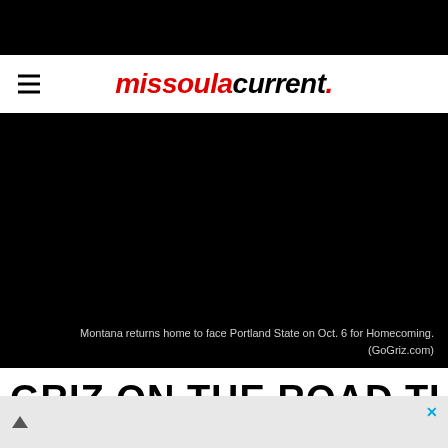missoulacurrent.
[Figure (photo): Dark/black image area showing a football field or sports venue, nearly fully black]
Montana returns home to face Portland State on Oct. 6 for Homecoming. (GoGriz.com)
GRIZ ON THE ROAD THIS WEEK